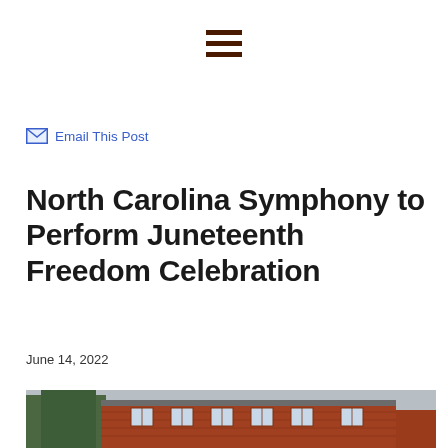[Figure (other): Hamburger menu icon — three horizontal dark brown bars]
Email This Post
North Carolina Symphony to Perform Juneteenth Freedom Celebration
June 14, 2022
[Figure (photo): Photograph of a red brick building with trees, partially visible at the bottom of the page]